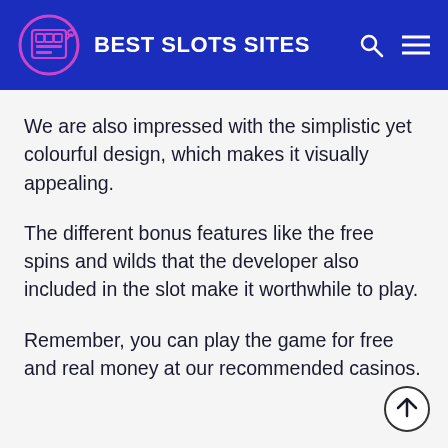BEST SLOTS SITES
We are also impressed with the simplistic yet colourful design, which makes it visually appealing.
The different bonus features like the free spins and wilds that the developer also included in the slot make it worthwhile to play.
Remember, you can play the game for free and real money at our recommended casinos.